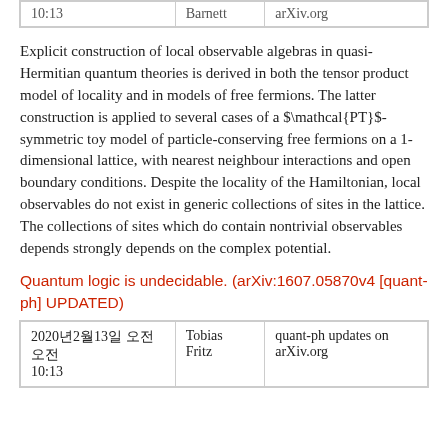| 10:13 | Barnett | arXiv.org |
Explicit construction of local observable algebras in quasi-Hermitian quantum theories is derived in both the tensor product model of locality and in models of free fermions. The latter construction is applied to several cases of a $\mathcal{PT}$-symmetric toy model of particle-conserving free fermions on a 1-dimensional lattice, with nearest neighbour interactions and open boundary conditions. Despite the locality of the Hamiltonian, local observables do not exist in generic collections of sites in the lattice. The collections of sites which do contain nontrivial observables depends strongly depends on the complex potential.
Quantum logic is undecidable. (arXiv:1607.05870v4 [quant-ph] UPDATED)
| 2020년2월13일 오전 오전
10:13 | Tobias
Fritz | quant-ph updates on
arXiv.org |